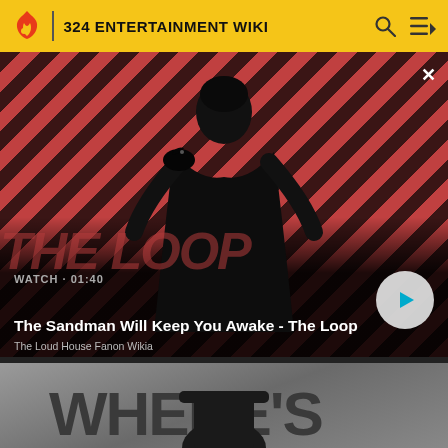324 ENTERTAINMENT WIKI
[Figure (screenshot): Video thumbnail showing a man in dark clothing with a raven on his shoulder against a red diagonal stripe background. Text overlay reads WATCH · 01:40, The Sandman Will Keep You Awake - The Loop, with The Loud House Fanon Wikia subtitle. A play button is visible on the right.]
[Figure (screenshot): Partial video thumbnail with gray background and partial text reading WHERE'S in dark stylized lettering.]